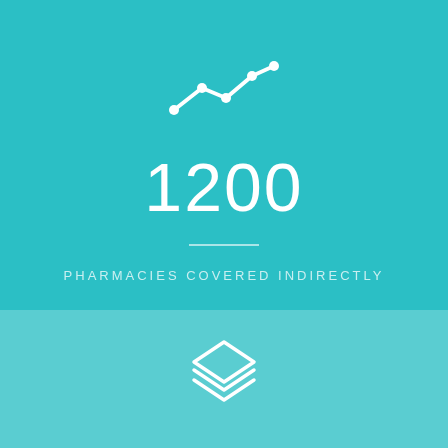[Figure (illustration): White line chart icon with an upward trending line and dots on a teal background]
1200
PHARMACIES COVERED INDIRECTLY
[Figure (illustration): White stacked layers icon on a lighter teal background]